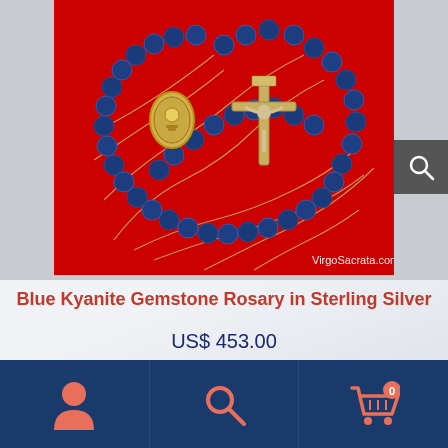[Figure (photo): Blue Kyanite Gemstone Rosary with sterling silver crucifix and centerpiece, laid on a red background. Watermark reads VirgoSacrata.com]
Blue Kyanite Gemstone Rosary in Sterling Silver
US$ 453.00
Read more